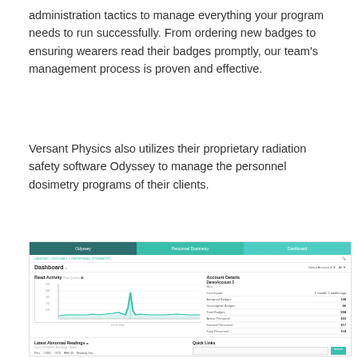administration tactics to manage everything your program needs to run successfully. From ordering new badges to ensuring wearers read their badges promptly, our team's management process is proven and effective.
Versant Physics also utilizes their proprietary radiation safety software Odyssey to manage the personnel dosimetry programs of their clients.
[Figure (screenshot): Screenshot of the Odyssey radiation safety software Dashboard showing Personnel Dosimetry module. Navigation bar with Odyssey, Personnel Dosimetry, and Dashboard tabs. Dashboard header with Demo Account 3 details including Last Import (1 month, 2 weeks ago), Assigned Badges (138), Unassigned Badges (66), Total Badges (504), Active Personnel (323), Inactive Personnel (217), Total Personnel (118). Read Activity chart with line graph over time. Latest Abnormal Readings section at bottom left, Quick Links section at bottom right with search bar.]